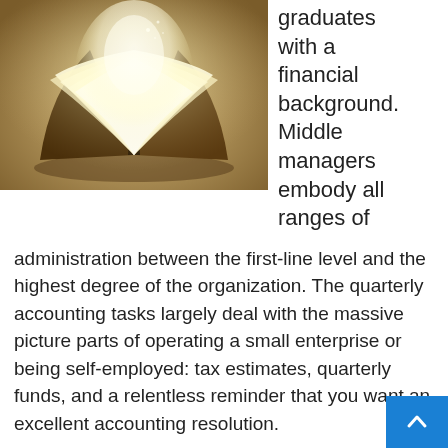[Figure (illustration): An open book with glowing white pages fanning out against a warm golden-brown background, with light emanating from the center of the pages.]
graduates with a financial background. Middle managers embody all ranges of administration between the first-line level and the highest degree of the organization. The quarterly accounting tasks largely deal with the massive picture parts of operating a small enterprise or being self-employed: tax estimates, quarterly funds, and a relentless reminder that you want an excellent accounting resolution.
Look in your cellphone, your desktop, your web and your social media profiles for content material